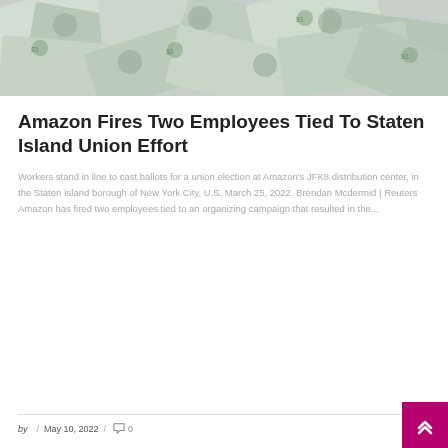[Figure (photo): Overhead view of scattered US dollar bills covering the entire frame]
Amazon Fires Two Employees Tied To Staten Island Union Effort
Workers stand in line to cast ballots for a union election at Amazon's JFK8 distribution center, in the Staten Island borough of New York City, U.S. March 25, 2022. Brendan Mcdermid | Reuters Amazon has fired two employees tied to an organizing campaign that resulted in the...
by / May 10, 2022 / 0